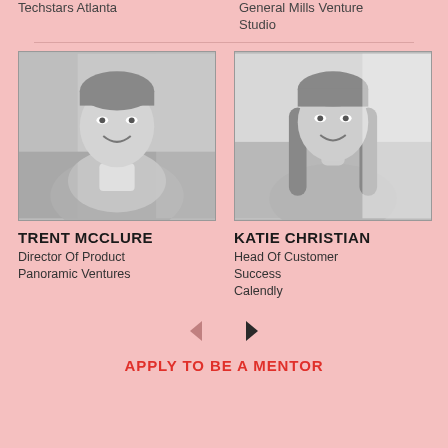Techstars Atlanta
General Mills Venture Studio
[Figure (photo): Black and white headshot of Trent McClure, a smiling man in a blazer]
[Figure (photo): Black and white headshot of Katie Christian, a smiling woman with long hair]
TRENT MCCLURE
Director Of Product
Panoramic Ventures
KATIE CHRISTIAN
Head Of Customer Success
Calendly
APPLY TO BE A MENTOR